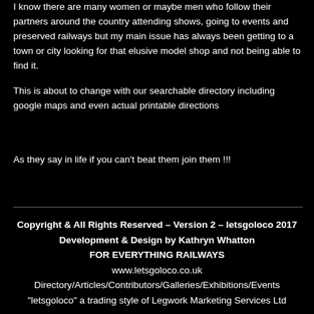I know there are many women or maybe men who follow their partners around the country attending shows, going to events and preserved railways but my main issue has always been getting to a town or city looking for that elusive model shop and not being able to find it.
This is about to change with our searchable directory including google maps and even actual printable directions
As they say in life if you can't beat them join them !!!
Copyright & All Rights Reserved – Version 2 – letsgoloco 2017
Development & Design by Kathryn Whatton
FOR EVERYTHING RAILWAYS
www.letsgoloco.co.uk
Directory/Articles/Contributors/Galleries/Exhibitions/Events
"letsgoloco" a trading style of Legwork Marketing Services Ltd